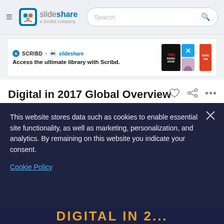slideshare a Scribd company — Search bar
[Figure (screenshot): Advertisement banner: SCRIBD + slideshare logos, 'Access the ultimate library with Scribd.' text, thumbnail images of TED Radio Hour and other content]
Digital in 2017 Global Overview
We Are Social Singapore
This website stores data such as cookies to enable essential site functionality, as well as marketing, personalization, and analytics. By remaining on this website you indicate your consent.
Cookie Policy
[Figure (screenshot): Bottom peek showing 'DIGITAL IN 2...' text in orange/gold on dark navy background]